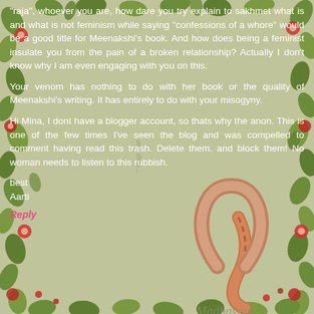[Figure (illustration): Decorative floral background with green leaves, red flowers, and illustrated snake and horseshoe elements on a muted olive/sage green background.]
"raja", whoever you are, how dare you try explain to sakhmet what is and what is not feminism while saying "confessions of a whore" would be a good title for Meenakshi's book. And how does being a feminist insulate you from the pain of a broken relationship? Actually I don't know why I am even engaging with you on this.
Your venom has nothing to do with her book or the quality of Meenakshi's writing. It has entirely to do with your misogyny.
Hi Mina, I dont have a blogger account, so thats why the anon. This is one of the few times I've seen the blog and was compelled to comment having read this trash. Delete them, and block them! No woman needs to listen to this rubbish.
best
Aarti
Reply